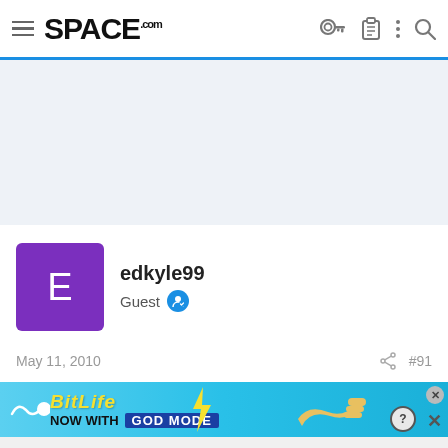SPACE.com
[Figure (screenshot): Light gray/blue advertisement placeholder banner area]
edkyle99
Guest
May 11, 2010  #91
[Figure (screenshot): BitLife advertisement banner - NOW WITH GOD MODE]